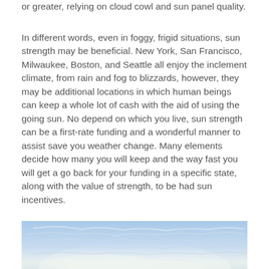or greater, relying on cloud cowl and sun panel quality.
In different words, even in foggy, frigid situations, sun strength may be beneficial. New York, San Francisco, Milwaukee, Boston, and Seattle all enjoy the inclement climate, from rain and fog to blizzards, however, they may be additional locations in which human beings can keep a whole lot of cash with the aid of using the going sun. No depend on which you live, sun strength can be a first-rate funding and a wonderful manner to assist save you weather change. Many elements decide how many you will keep and the way fast you will get a go back for your funding in a specific state, along with the value of strength, to be had sun incentives.
[Figure (photo): Sky with light blue tones, wispy clouds, and a bright glow near the horizon]